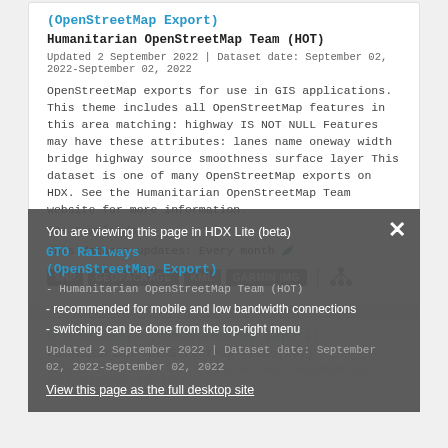(OpenStreetMap Export)
Humanitarian OpenStreetMap Team (HOT)
Updated 2 September 2022 | Dataset date: September 02, 2022-September 02, 2022
OpenStreetMap exports for use in GIS applications. This theme includes all OpenStreetMap features in this area matching: highway IS NOT NULL Features may have these attributes: lanes name oneway width bridge highway source smoothness surface layer This dataset is one of many OpenStreetMap exports on HDX. See the Humanitarian OpenStreetMap Team website for more information.
50+ Downloads
This dataset updates: Every month
SHP  GEOPACKAGE  KML  GARMIN IMG
GTO Railways (OpenStreetMap Export)
Humanitarian OpenStreetMap Team (HOT)
Updated 2 September 2022 | Dataset date: September 02, 2022-September 02, 2022
You are viewing this page in HDX Lite (beta)
- recommended for mobile and low bandwidth connections
- switching can be done from the top-right menu
View this page as the full desktop site